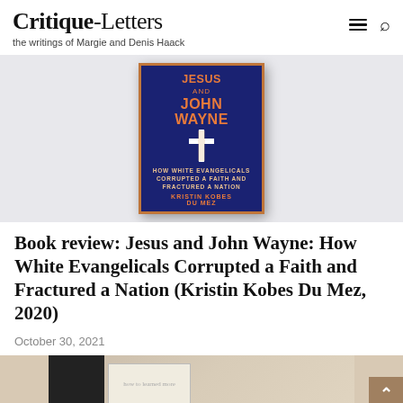Critique-Letters — the writings of Margie and Denis Haack
[Figure (photo): Book cover of 'Jesus and John Wayne: How White Evangelicals Corrupted a Faith and Fractured a Nation' by Kristin Kobes Du Mez, shown against a light gray background.]
Book review: Jesus and John Wayne: How White Evangelicals Corrupted a Faith and Fractured a Nation (Kristin Kobes Du Mez, 2020)
October 30, 2021
[Figure (photo): Partial image of a laptop keyboard and a small card or note on a wooden surface, partially visible at the bottom of the page.]